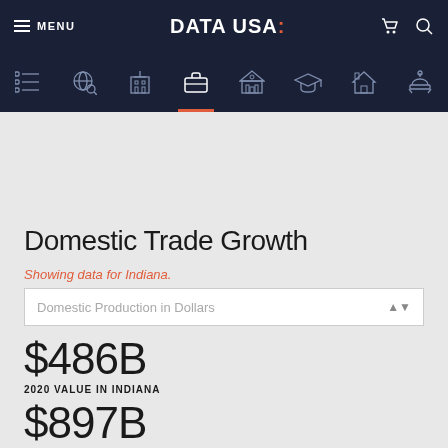MENU | DATA USA: | (cart) (search)
[Figure (screenshot): Navigation icon bar with icons: list, globe-search, building, briefcase (active), government building, graduation cap, house, worker helmet]
Domestic Trade Growth
Showing data for Indiana.
Domestic Production in Dollars
$486B
2020 VALUE IN INDIANA
$897B